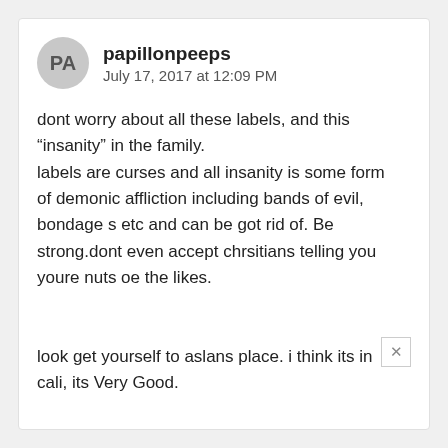papillonpeeps
July 17, 2017 at 12:09 PM
dont worry about all these labels, and this “insanity” in the family.
labels are curses and all insanity is some form of demonic affliction including bands of evil, bondage s etc and can be got rid of. Be strong.dont even accept chrsitians telling you youre nuts oe the likes.

look get yourself to aslans place. i think its in cali, its Very Good.